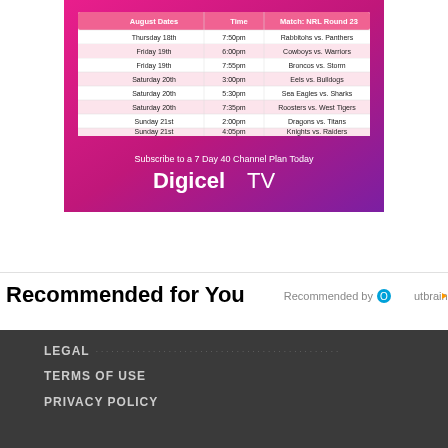[Figure (other): Digicel TV advertisement showing NRL Round 23 schedule for August dates with matches, times, and teams on a pink/purple gradient background]
Recommended for You
Recommended by Outbrain
LEGAL  TERMS OF USE  PRIVACY POLICY